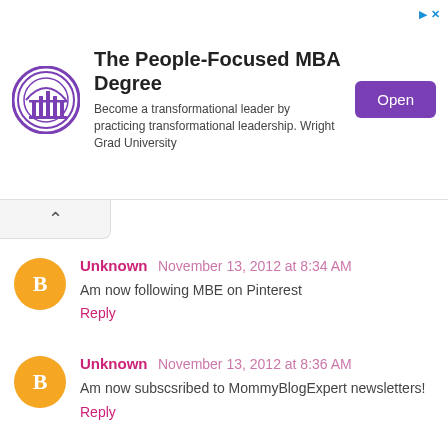[Figure (infographic): Advertisement banner: Wright Grad University logo (circular purple logo), headline 'The People-Focused MBA Degree', subtitle 'Become a transformational leader by practicing transformational leadership. Wright Grad University', and a purple 'Open' button. Ad indicator icons in top right.]
Unknown  November 13, 2012 at 8:34 AM
Am now following MBE on Pinterest
Reply
Unknown  November 13, 2012 at 8:36 AM
Am now subscsribed to MommyBlogExpert newsletters!
Reply
Unknown  November 13, 2012 at 8:36 AM
Now following Arthur Christmas on Twitter...
Reply